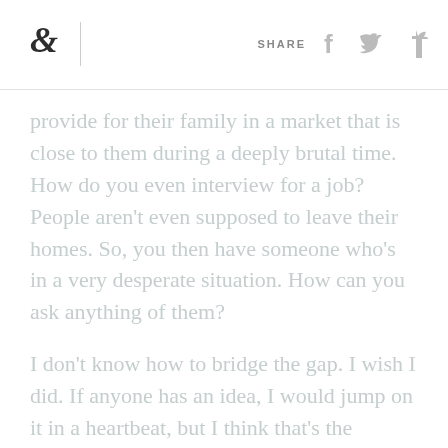& | SHARE
provide for their family in a market that is close to them during a deeply brutal time. How do you even interview for a job? People aren't even supposed to leave their homes. So, you then have someone who's in a very desperate situation. How can you ask anything of them?
I don't know how to bridge the gap. I wish I did. If anyone has an idea, I would jump on it in a heartbeat, but I think that's the toughest part. I think restaurant owners and our teams are actually trying to fight for the same thing.